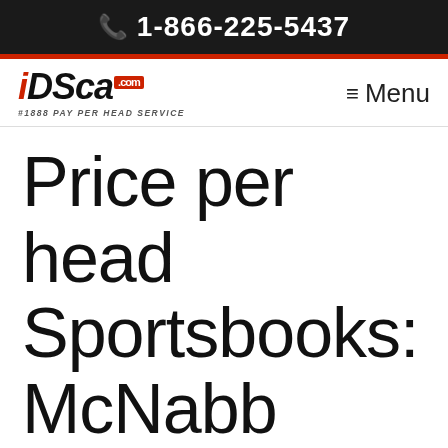1-866-225-5437
[Figure (logo): iDSca.com Pay Per Head Service logo]
≡ Menu
Price per head Sportsbooks: McNabb says that